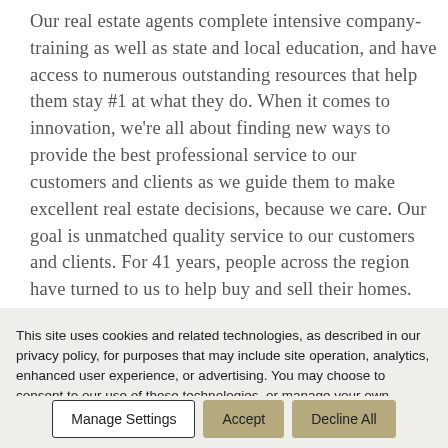Our real estate agents complete intensive company-training as well as state and local education, and have access to numerous outstanding resources that help them stay #1 at what they do. When it comes to innovation, we're all about finding new ways to provide the best professional service to our customers and clients as we guide them to make excellent real estate decisions, because we care. Our goal is unmatched quality service to our customers and clients. For 41 years, people across the region have turned to us to help buy and sell their homes. Our 2500+ real estate agents currently serve 100+ locations across Wisconsin, Illinois
This site uses cookies and related technologies, as described in our privacy policy, for purposes that may include site operation, analytics, enhanced user experience, or advertising. You may choose to consent to our use of these technologies, or manage your own preferences.
Manage Settings | Accept | Decline All